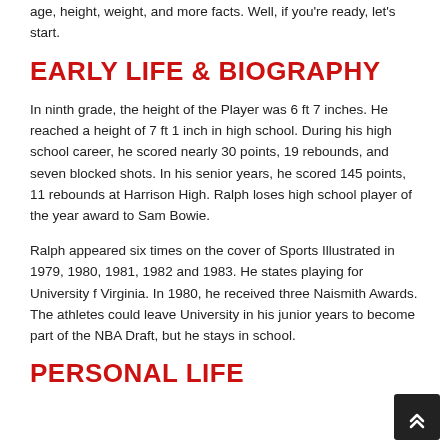age, height, weight, and more facts. Well, if you're ready, let's start.
EARLY LIFE & BIOGRAPHY
In ninth grade, the height of the Player was 6 ft 7 inches. He reached a height of 7 ft 1 inch in high school. During his high school career, he scored nearly 30 points, 19 rebounds, and seven blocked shots. In his senior years, he scored 145 points, 11 rebounds at Harrison High. Ralph loses high school player of the year award to Sam Bowie.
Ralph appeared six times on the cover of Sports Illustrated in 1979, 1980, 1981, 1982 and 1983. He states playing for University f Virginia. In 1980, he received three Naismith Awards. The athletes could leave University in his junior years to become part of the NBA Draft, but he stays in school.
PERSONAL LIFE